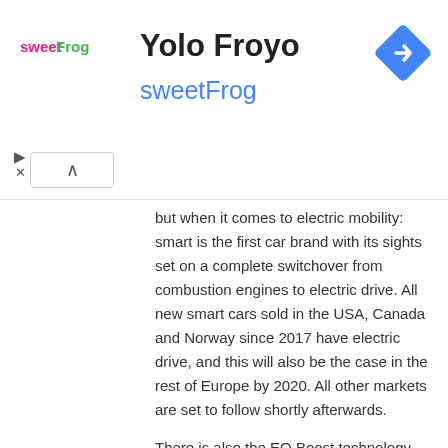Yolo Froyo
sweetFrog
but when it comes to electric mobility: smart is the first car brand with its sights set on a complete switchover from combustion engines to electric drive. All new smart cars sold in the USA, Canada and Norway since 2017 have electric drive, and this will also be the case in the rest of Europe by 2020. All other markets are set to follow shortly afterwards.
There is also the EQ Boost technology for the electrification of modern combustion engines through the integration of a 48-volt on-board electrical system. The integrated or belt-driven starter/alternator, depending on engine variant, is responsible for hybrid functions such as Boost or Recuperation, while allowing